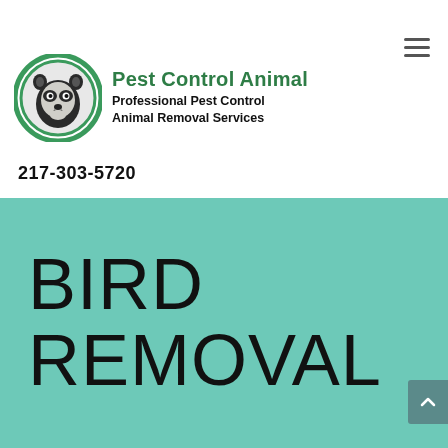[Figure (logo): Pest Control Animal logo: circular green-bordered emblem with a raccoon face illustration, next to bold green text 'Pest Control Animal' and subtitle 'Professional Pest Control Animal Removal Services']
217-303-5720
BIRD REMOVAL